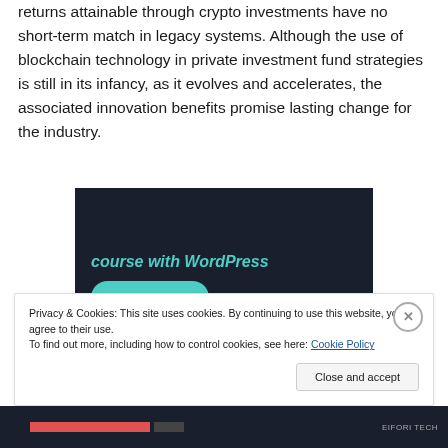returns attainable through crypto investments have no short-term match in legacy systems. Although the use of blockchain technology in private investment fund strategies is still in its infancy, as it evolves and accelerates, the associated innovation benefits promise lasting change for the industry.
[Figure (screenshot): Dark-background advertisement banner with teal italic bold text reading 'course with WordPress' and a teal 'Learn More' rounded button]
Privacy & Cookies: This site uses cookies. By continuing to use this website, you agree to their use.
To find out more, including how to control cookies, see here: Cookie Policy
Close and accept